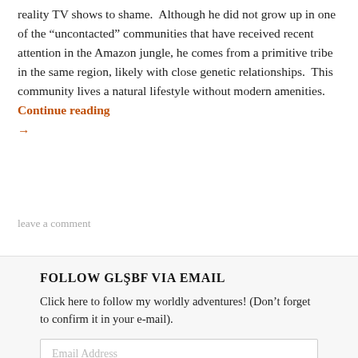reality TV shows to shame.  Although he did not grow up in one of the “uncontacted” communities that have received recent attention in the Amazon jungle, he comes from a primitive tribe in the same region, likely with close genetic relationships.  This community lives a natural lifestyle without modern amenities.   Continue reading →
leave a comment
FOLLOW GLŞBF VIA EMAIL
Click here to follow my worldly adventures! (Don’t forget to confirm it in your e-mail).
Email Address